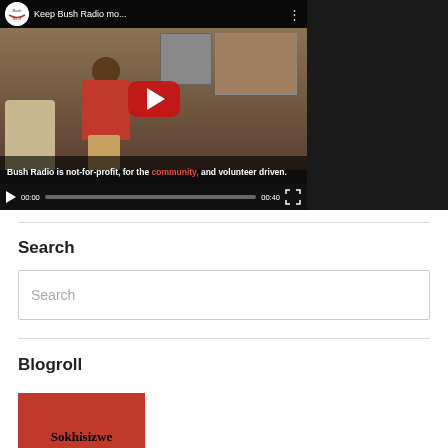[Figure (screenshot): YouTube video player showing 'Keep Bush Radio mo...' with thumbnail of two people in an office/studio. Caption reads: 'Bush Radio is not-for-profit, for the community, and volunteer driven.' Controls show 00:00 / 00:40 with progress bar.]
Search
Search (input placeholder)
Blogroll
[Figure (screenshot): Partial thumbnail image in red with text 'Sokhisizwe' visible at bottom]